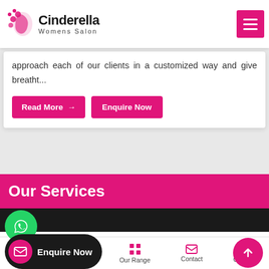Cinderella Womens Salon
approach each of our clients in a customized way and give breatht...
Read More →
Enquire Now
Our Services
UP
BRIDAL MAKEUP
Enquire Now
ENGAGEMENT MAKEUP
Home  About Us  Our Range  Contact  Call Us